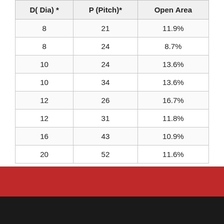| D( Dia) * | P (Pitch)* | Open Area |
| --- | --- | --- |
| 8 | 21 | 11.9% |
| 8 | 24 | 8.7% |
| 10 | 24 | 13.6% |
| 10 | 34 | 13.6% |
| 12 | 26 | 16.7% |
| 12 | 31 | 11.8% |
| 16 | 43 | 10.9% |
| 20 | 52 | 11.6% |
[Figure (photo): Red banner and dark industrial photo at the bottom of the page]